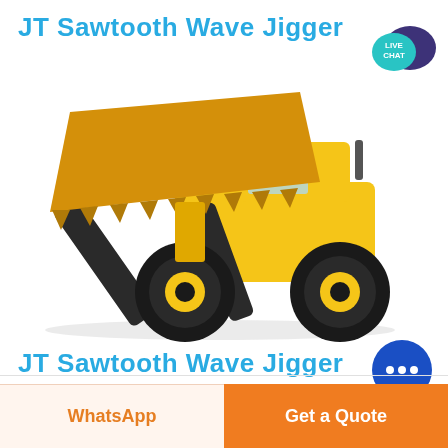JT Sawtooth Wave Jigger
[Figure (illustration): Yellow and black wheel loader / front-end loader with large bucket raised, shown on white background]
[Figure (illustration): Live Chat badge - teal speech bubble with LIVE CHAT text and dark blue speech bubble behind]
JT Sawtooth Wave Jigger
[Figure (illustration): Blue circular chat button with three dots (ellipsis) indicating messaging]
WhatsApp
Get a Quote